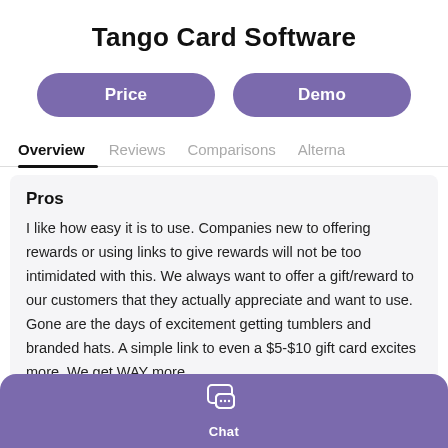Tango Card Software
Price
Demo
Overview
Reviews
Comparisons
Alterna
Pros
I like how easy it is to use. Companies new to offering rewards or using links to give rewards will not be too intimidated with this. We always want to offer a gift/reward to our customers that they actually appreciate and want to use. Gone are the days of excitement getting tumblers and branded hats. A simple link to even a $5-$10 gift card excites more. We get WAY more
Chat